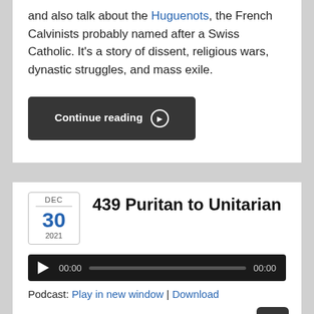and also talk about the Huguenots, the French Calvinists probably named after a Swiss Catholic. It's a story of dissent, religious wars, dynastic struggles, and mass exile.
Continue reading ➔
439 Puritan to Unitarian
DEC 30 2021
[Figure (other): Audio player with play button, time display 00:00, progress bar, and end time 00:00]
Podcast: Play in new window | Download
Subscribe: Apple Podcasts | Google Podcasts | Spo... RSS